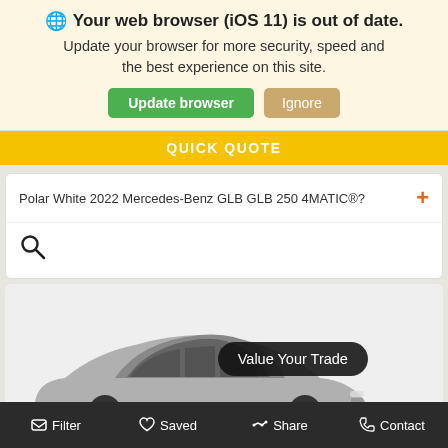🌐 Your web browser (iOS 11) is out of date. Update your browser for more security, speed and the best experience on this site.
Update browser
Ignore
QUICK QUOTE
Polar White 2022 Mercedes-Benz GLB GLB 250 4MATIC®?
[Figure (screenshot): Search icon (magnifying glass)]
[Figure (photo): Partial view of a silver/grey Mercedes-Benz GLB SUV with a dark rounded 'Value Your Trade' button overlay]
Value Your Trade
Filter   Saved   Share   Contact